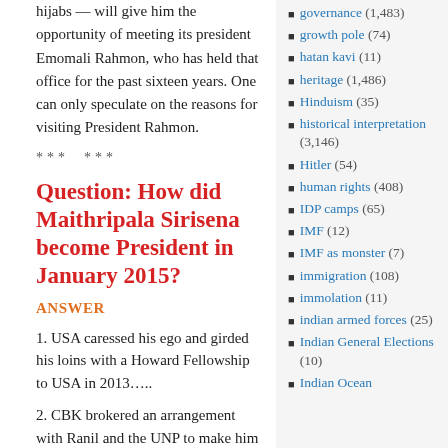hijabs — will give him the opportunity of meeting its president Emomali Rahmon, who has held that office for the past sixteen years. One can only speculate on the reasons for visiting President Rahmon.
*** ***
Question: How did Maithripala Sirisena become President in January 2015?
ANSWER
1. USA caressed his ego and girded his loins with a Howard Fellowship to USA in 2013…..
2. CBK brokered an arrangement with Ranil and the UNP to make him their Presidential candidate. Mahinda Rajapaksa was the
governance (1,483)
growth pole (74)
hatan kavi (11)
heritage (1,486)
Hinduism (35)
historical interpretation (3,146)
Hitler (54)
human rights (408)
IDP camps (65)
IMF (12)
IMF as monster (7)
immigration (108)
immolation (11)
indian armed forces (25)
Indian General Elections (10)
Indian Ocean